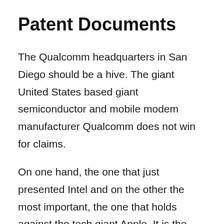Patent Documents
The Qualcomm headquarters in San Diego should be a hive. The giant United States based giant semiconductor and mobile modem manufacturer Qualcomm does not win for claims.
On one hand, the one that just presented Intel and on the other the most important, the one that holds against the tech giant Apple. It is the one that concerns the iPhone that has motivated that Qualcomm goal a goal in own goal confirming the existence of Snapdragon 845.